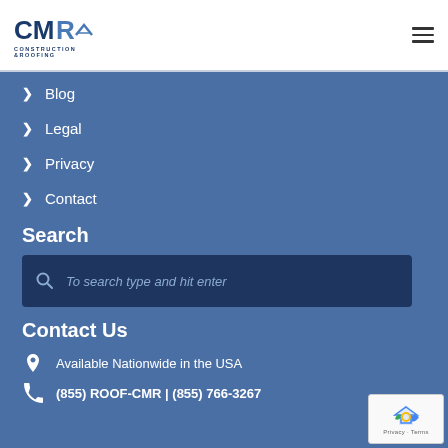[Figure (logo): CMR Construction & Roofing logo with stylized text and roof icon]
Blog
Legal
Privacy
Contact
Search
To search type and hit enter
Contact Us
Available Nationwide in the USA
(855) ROOF-CMR | (855) 766-3267